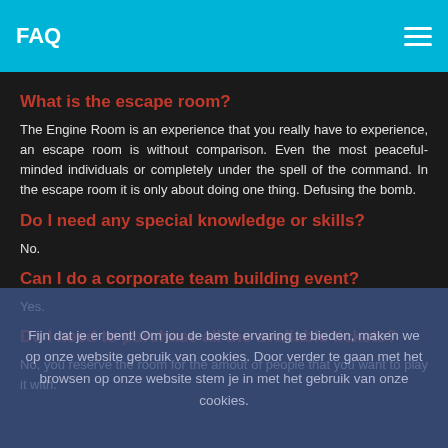FAQ
What is the escape room?
The Engine Room is an experience that you really have to experience, an escape room is without comparison. Even the most peaceful-minded individuals or completely under the spell of the command. In the escape room it is only about doing one thing. Defusing the bomb.
Do I need any special knowledge or skills?
No.
Can I do a corporate team building event?
Yes.
Do I need to purchase all the available tickets?
No, you reserve the room for the amout of people that you want to play it with.
Fijn dat je er bent! Om jou de beste ervaring te bieden, maken we op onze website gebruik van cookies. Door verder te gaan met het browsen op onze website stem je in met het gebruik van onze cookies.